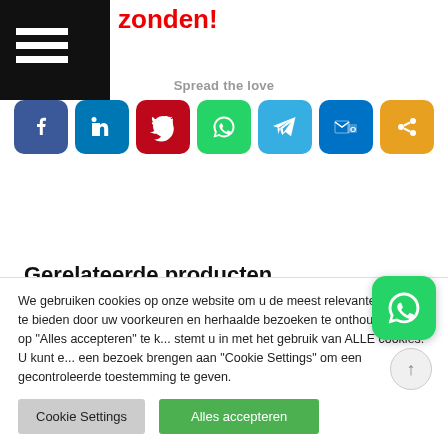zonden!
Spread the love
[Figure (infographic): Social share buttons row: Facebook (blue), LinkedIn (blue), Pinterest (red), WhatsApp (green), Telegram (light blue), Outlook (dark blue), Share (orange)]
Gerelateerde producten
[Figure (photo): Partial speedometer gauge showing '80' marking with red needle, dark background]
We gebruiken cookies op onze website om u de meest relevante ervaring te bieden door uw voorkeuren en herhaalde bezoeken te onthouden. Door op "Alles accepteren" te klikken, stemt u in met het gebruik van ALLE cookies. U kunt echter een bezoek brengen aan "Cookie Settings" om een gecontroleerde toestemming te geven.
Cookie Settings
Alles accepteren